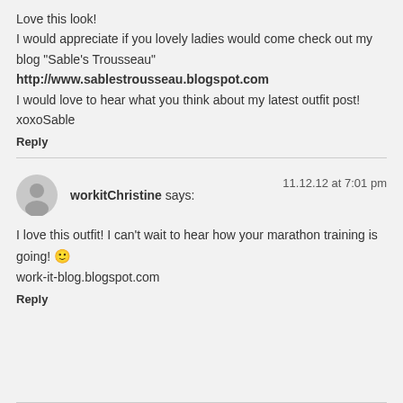Love this look!
I would appreciate if you lovely ladies would come check out my blog "Sable's Trousseau"
http://www.sablestrousseau.blogspot.com
I would love to hear what you think about my latest outfit post!
xoxoSable
Reply
workitChristine says:   11.12.12 at 7:01 pm
I love this outfit! I can't wait to hear how your marathon training is going! 🙂
work-it-blog.blogspot.com
Reply